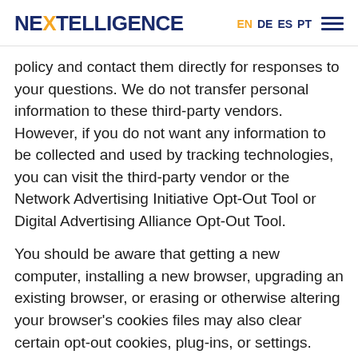NEXTELLIGENCE EN DE ES PT
policy and contact them directly for responses to your questions. We do not transfer personal information to these third-party vendors. However, if you do not want any information to be collected and used by tracking technologies, you can visit the third-party vendor or the Network Advertising Initiative Opt-Out Tool or Digital Advertising Alliance Opt-Out Tool.
You should be aware that getting a new computer, installing a new browser, upgrading an existing browser, or erasing or otherwise altering your browser's cookies files may also clear certain opt-out cookies, plug-ins, or settings.
THIRD-PARTY WEBSITES